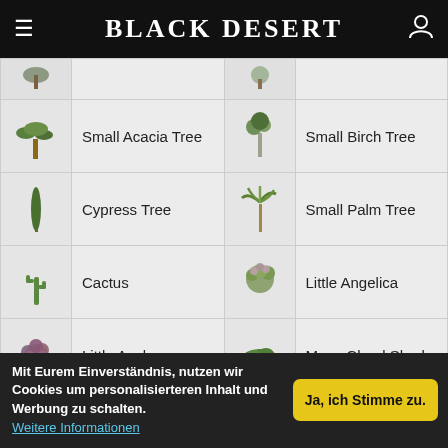Black Desert
| Icon | Name | Icon | Name |
| --- | --- | --- | --- |
| [image] | Small Acacia Tree | [image] | Small Birch Tree |
| [image] | Cypress Tree | [image] | Small Palm Tree |
| [image] | Cactus | [image] | Little Angelica |
| [image] | Little Azalea | [image] | Maze Cloud Shrub |
| [image] | Maze Donut Shrub | [image] | Maze Balled Shrub |
| [image] | Twisting Shrub | [image] | Wing Raised Bed |
Mit Eurem Einverständnis, nutzen wir Cookies um personalisierteren Inhalt und Werbung zu schalten. Weitere Informationen
Ja, ich Stimme zu.